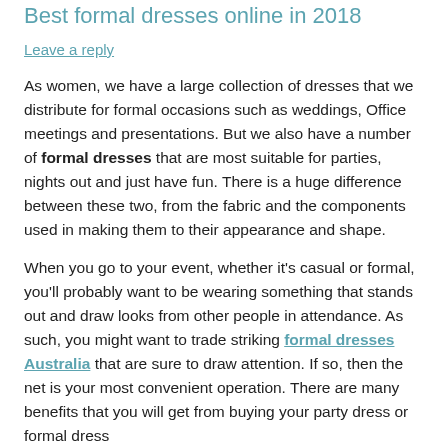Best formal dresses online in 2018
Leave a reply
As women, we have a large collection of dresses that we distribute for formal occasions such as weddings, Office meetings and presentations. But we also have a number of formal dresses that are most suitable for parties, nights out and just have fun. There is a huge difference between these two, from the fabric and the components used in making them to their appearance and shape.
When you go to your event, whether it's casual or formal, you'll probably want to be wearing something that stands out and draw looks from other people in attendance. As such, you might want to trade striking formal dresses Australia that are sure to draw attention. If so, then the net is your most convenient operation. There are many benefits that you will get from buying your party dress or formal dress